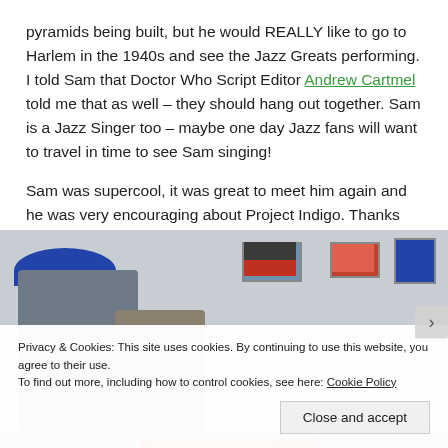pyramids being built, but he would REALLY like to go to Harlem in the 1940s and see the Jazz Greats performing. I told Sam that Doctor Who Script Editor Andrew Cartmel told me that as well – they should hang out together. Sam is a Jazz Singer too – maybe one day Jazz fans will want to travel in time to see Sam singing!
Sam was supercool, it was great to meet him again and he was very encouraging about Project Indigo. Thanks Sam!
[Figure (photo): Photo of people at an event/convention, person wearing a blue cap in foreground, posters visible on wall in background, partially obscured by cookie consent banner]
Privacy & Cookies: This site uses cookies. By continuing to use this website, you agree to their use. To find out more, including how to control cookies, see here: Cookie Policy